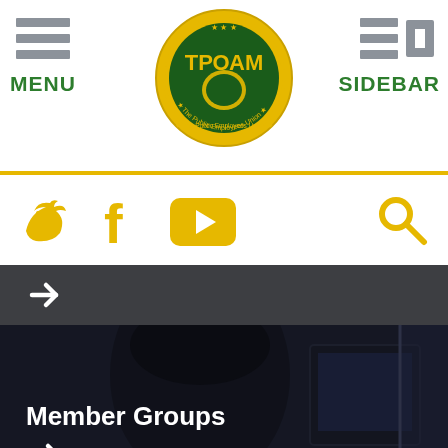TPOAM - The Public Employees Union
[Figure (logo): TPOAM - The Public Employees Union circular logo with green and yellow colors, Michigan state silhouette in center]
[Figure (infographic): Navigation header with MENU hamburger icon on left, SIDEBAR icon on right, social media icons (Twitter, Facebook, YouTube) and search icon in gold/yellow]
[Figure (photo): Dark banner with right-pointing arrow in white]
[Figure (photo): Member Groups section: photo of woman at computer with dark overlay, white bold text 'Member Groups' and white right arrow]
[Figure (photo): Bottom partial photo showing plants and a person in tan jacket]